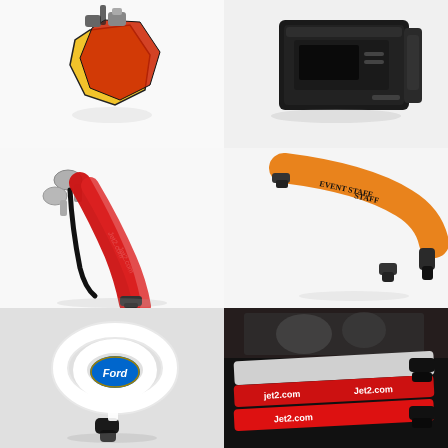[Figure (photo): Colorful keychains or badge holders in yellow and red/black colors on white background]
[Figure (photo): Black electronic device or printer on white background]
[Figure (photo): Red lanyards with Jet2.com branding and metal clips on white background]
[Figure (photo): Orange/yellow EVENT STAFF lanyard with black clips on white background]
[Figure (photo): White Ford branded lanyard coiled with black clip on light grey background]
[Figure (photo): Red Jet2.com branded lanyards with black clips, close-up on dark background]